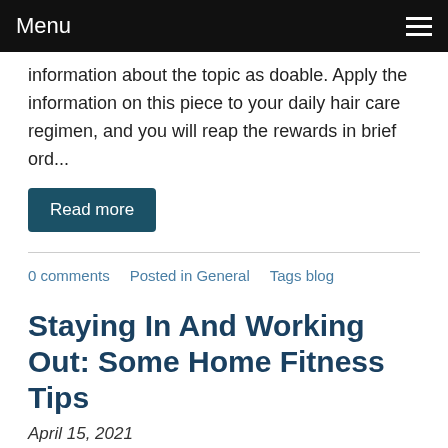Menu
information about the topic as doable. Apply the information on this piece to your daily hair care regimen, and you will reap the rewards in brief ord...
Read more
0 comments   Posted in General   Tags blog
Staying In And Working Out: Some Home Fitness Tips
April 15, 2021
[Figure (photo): Indoor home gym setup with a monitor/TV screen, a fan, and exercise equipment]